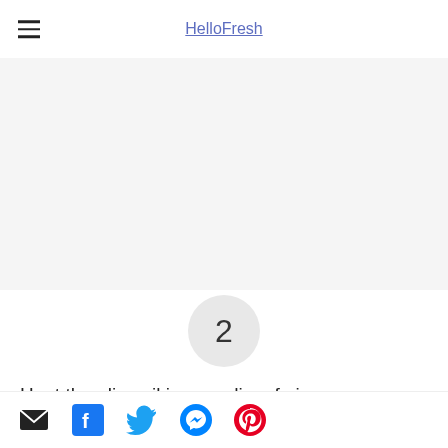HelloFresh
[Figure (photo): Recipe step image placeholder area (light gray)]
2
Heat the olive oil in a medium frying pan over a medium-high heat. Add the brown onion and cook, stirring, for 5 minutes, or until soft. Add the garlic and cook for 1 minute, or until
Email | Facebook | Twitter | Messenger | Pinterest social sharing icons